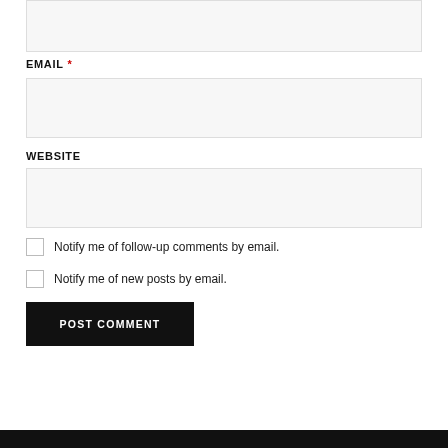(input box — top, empty)
EMAIL *
(email input box, empty)
WEBSITE
(website input box, empty)
Notify me of follow-up comments by email.
Notify me of new posts by email.
POST COMMENT